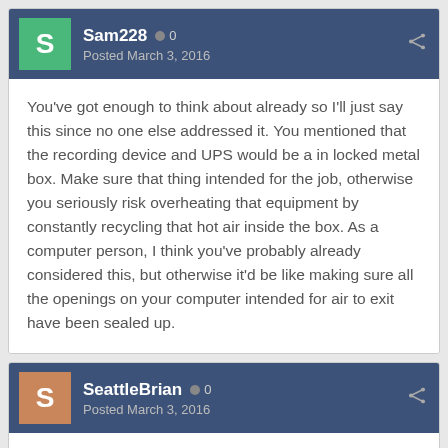Sam228 • 0 Posted March 3, 2016
You've got enough to think about already so I'll just say this since no one else addressed it. You mentioned that the recording device and UPS would be a in locked metal box. Make sure that thing intended for the job, otherwise you seriously risk overheating that equipment by constantly recycling that hot air inside the box. As a computer person, I think you've probably already considered this, but otherwise it'd be like making sure all the openings on your computer intended for air to exit have been sealed up.
SeattleBrian • 0 Posted March 3, 2016
Sam228,